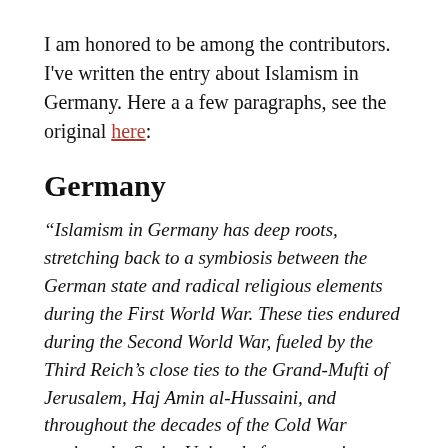I am honored to be among the contributors. I've written the entry about Islamism in Germany. Here a a few paragraphs, see the original here:
Germany
“Islamism in Germany has deep roots, stretching back to a symbiosis between the German state and radical religious elements during the First World War. These ties endured during the Second World War, fueled by the Third Reich’s close ties to the Grand-Mufti of Jerusalem, Haj Amin al-Hussaini, and throughout the decades of the Cold War against the Soviet Union, before emerging to challenge the stability of the Federal Republic in the post-Cold War era.”